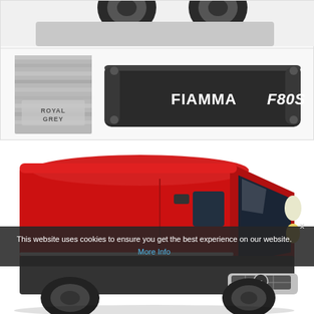[Figure (photo): Fiamma F80S awning product images. Top: partial view of a vehicle roof with two wheels visible. Bottom left: fabric swatch labeled 'ROYAL GREY' with grey striped texture. Bottom right: dark grey/black Fiamma F80S awning cassette with white 'FIAMMA F80S' logo text on it.]
[Figure (photo): Red Fiat Ducato van (large panel van) photographed from front-left angle against white background. Van has silver/grey lower bumper trim and dark tinted windows.]
This website uses cookies to ensure you get the best experience on our website. More Info